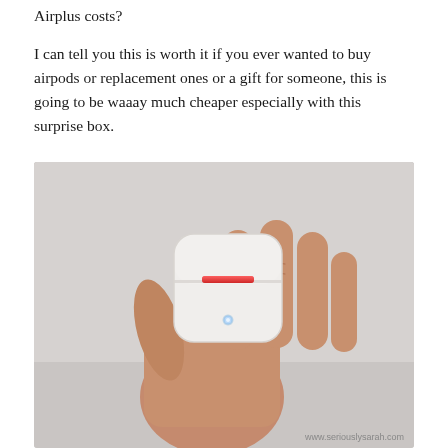Airplus costs?
I can tell you this is worth it if you ever wanted to buy airpods or replacement ones or a gift for someone, this is going to be waaay much cheaper especially with this surprise box.
[Figure (photo): A hand holding a white wireless earbud charging case (AirPods-style). The case is white and rounded, with a glowing blue LED on the front and a red indicator strip near the top hinge. The background is light gray. Watermark reads www.seriouslysarah.com]